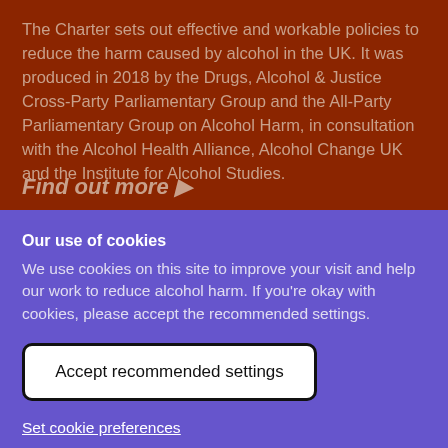The Charter sets out effective and workable policies to reduce the harm caused by alcohol in the UK. It was produced in 2018 by the Drugs, Alcohol & Justice Cross-Party Parliamentary Group and the All-Party Parliamentary Group on Alcohol Harm, in consultation with the Alcohol Health Alliance, Alcohol Change UK and the Institute for Alcohol Studies.
Find out more ▶
Our use of cookies
We use cookies on this site to improve your visit and help our work to reduce alcohol harm. If you're okay with cookies, please accept the recommended settings.
Accept recommended settings
Set cookie preferences